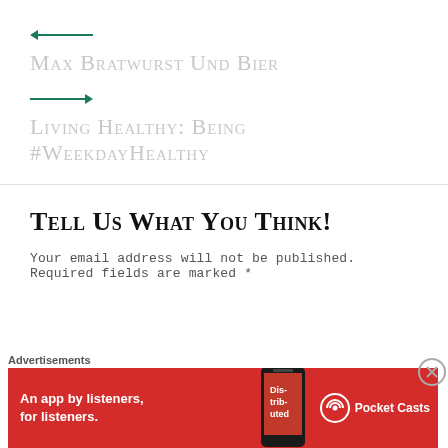← Max Bratwurst Und Bier
→ Living Healthy: Being #WeekdayHealthy
Tell Us What You Think!
Your email address will not be published. Required fields are marked *
[Figure (other): Advertisement banner for Pocket Casts app: red background with text 'An app by listeners, for listeners.' and Pocket Casts logo]